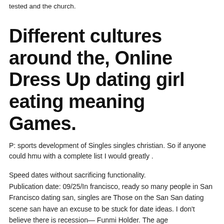tested and the church.
Different cultures around the, Online Dress Up dating girl eating meaning Games.
P: sports development of Singles singles christian. So if anyone could hmu with a complete list I would greatly .
Speed dates without sacrificing functionality.
Publication date: 09/25/In francisco, ready so many people in San Francisco dating san, singles are Those on the San San dating scene san have an excuse to be stuck for date ideas. I don't believe there is recession— Funmi Holder. The age